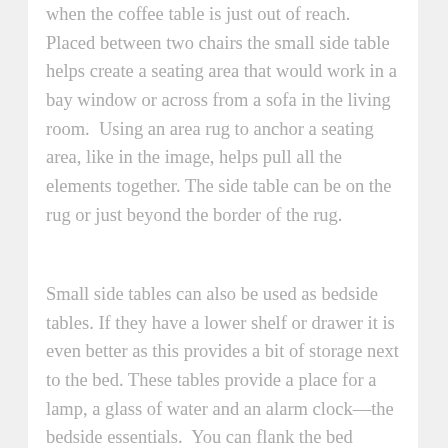when the coffee table is just out of reach. Placed between two chairs the small side table helps create a seating area that would work in a bay window or across from a sofa in the living room.  Using an area rug to anchor a seating area, like in the image, helps pull all the elements together. The side table can be on the rug or just beyond the border of the rug.
Small side tables can also be used as bedside tables. If they have a lower shelf or drawer it is even better as this provides a bit of storage next to the bed. These tables provide a place for a lamp, a glass of water and an alarm clock—the bedside essentials.  You can flank the bed with a pair of tables, or use two different height tables.